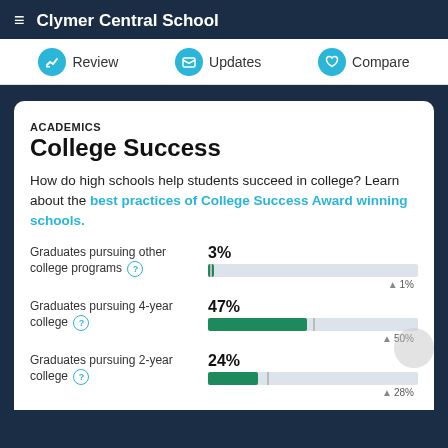Clymer Central School
Review | Updates | Compare
ACADEMICS
College Success
How do high schools help students succeed in college? Learn about the best practices of College Success Award winning schools.
[Figure (bar-chart): College Success Stats]